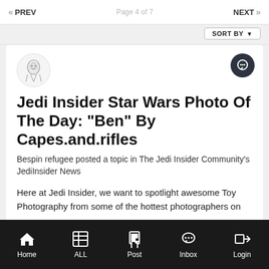« PREV  Page 4 of 7  NEXT »
SORT BY
Jedi Insider Star Wars Photo Of The Day: "Ben" By Capes.and.rifles
Bespin refugee posted a topic in The Jedi Insider Community's JediInsider News
Here at Jedi Insider, we want to spotlight awesome Toy Photography from some of the hottest photographers on
January 30, 2019  1 reply
jedi insider
star wars
(and 5 more)
Home  ALL  Post  Inbox  Login